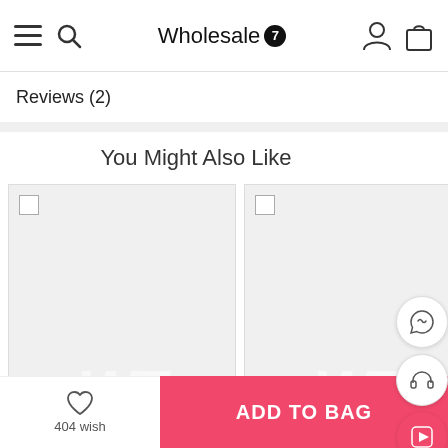Wholesale7
Reviews (2)
You Might Also Like
[Figure (screenshot): Two product image placeholders with W7 watermark logos on gray backgrounds]
404 wish
ADD TO BAG